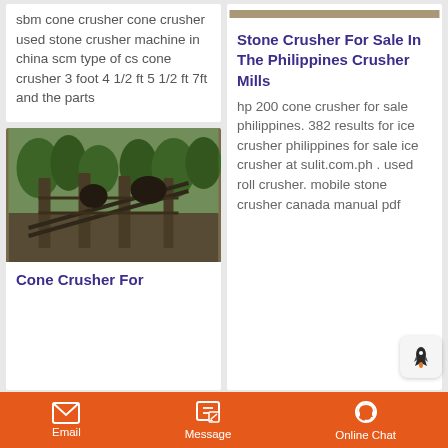sbm cone crusher cone crusher used stone crusher machine in china scm type of cs cone crusher 3 foot 4 1/2 ft 5 1/2 ft 7ft and the parts
[Figure (photo): Outdoor industrial cone crusher machine with metal framework and conveyor structure surrounded by trees]
Cone Crusher For
[Figure (photo): Partial image of stone crusher equipment at top of right column]
Stone Crusher For Sale In The Philippines Crusher Mills
hp 200 cone crusher for sale philippines. 382 results for ice crusher philippines for sale ice crusher at sulit.com.ph . used roll crusher. mobile stone crusher canada manual pdf
Email  Message  Online Chat